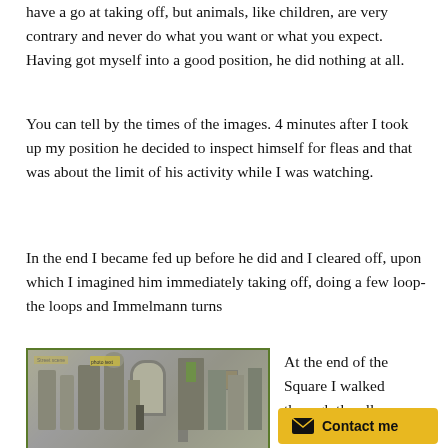have a go at taking off, but animals, like children, are very contrary and never do what you want or what you expect. Having got myself into a good position, he did nothing at all.
You can tell by the times of the images. 4 minutes after I took up my position he decided to inspect himself for fleas and that was about the limit of his activity while I was watching.
In the end I became fed up before he did and I cleared off, upon which I imagined him immediately taking off, doing a few loop-the loops and Immelmann turns
[Figure (photo): Photograph of a stone alleyway or square with arched architecture, figures, and a shop sign]
At the end of the Square I walked through the alleyway